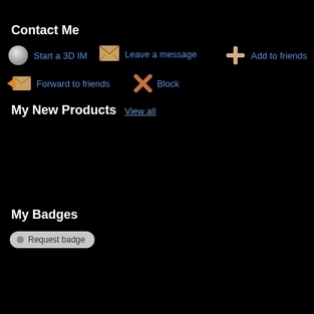Contact Me
Start a 3D IM
Leave a message
Add to friends
Forward to friends
Block
My New Products
View all
My Badges
Request badge